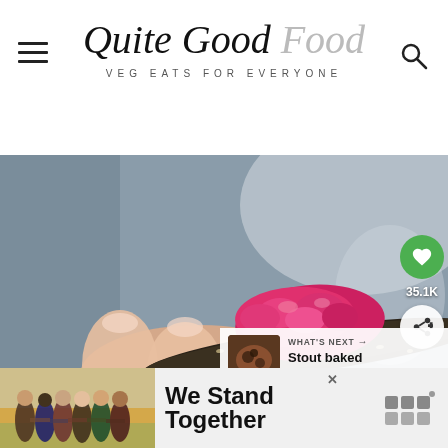Quite Good Food — VEG EATS FOR EVERYONE
[Figure (photo): Close-up photo of a hand holding a dark seeded cracker topped with bright pink/magenta beetroot hummus, against a blurred grey background]
35.1K
WHAT'S NEXT → Stout baked beans with...
[Figure (photo): Thumbnail of stout baked beans dish]
We Stand Together